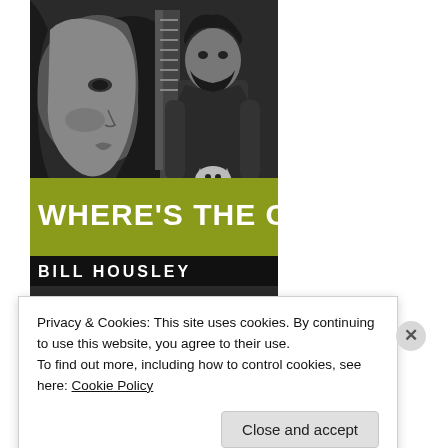[Figure (illustration): Book cover for 'Where's the Cat' by Bill Housley. Grayscale illustration of a woman's profile on the left and a bearded man holding a cat on the right, with a yellow-green banner across the middle showing the title in bold white text, and the author name in white on a black bar below.]
Privacy & Cookies: This site uses cookies. By continuing to use this website, you agree to their use.
To find out more, including how to control cookies, see here: Cookie Policy
Close and accept